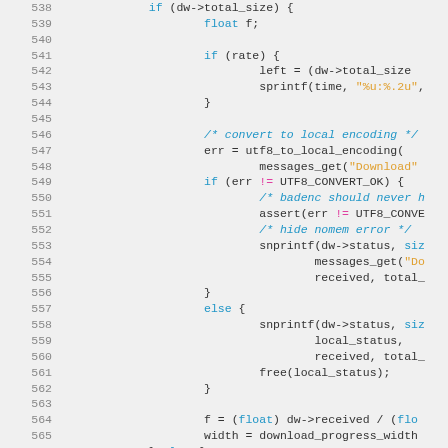[Figure (screenshot): Source code listing (C language) showing lines 538-568, with syntax highlighting. Line numbers in gray on the left, keywords in blue, strings in orange, operators in pink, comments in blue italic.]